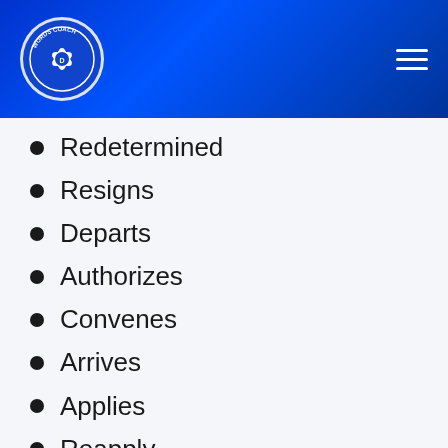Words Coach
Redetermined
Resigns
Departs
Authorizes
Convenes
Arrives
Applies
Reapply
Succeeds